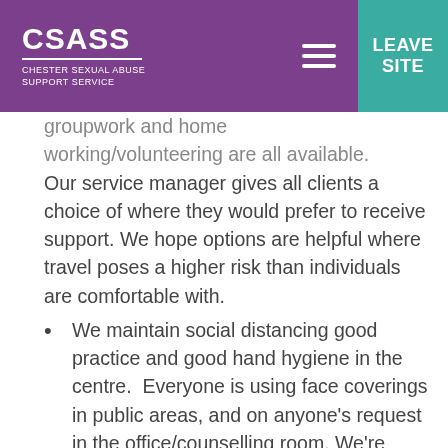CSASS Chester Sexual Abuse Support Service | LEAVE SITE
groupwork and home working/volunteering are all available. Our service manager gives all clients a choice of where they would prefer to receive support. We hope options are helpful where travel poses a higher risk than individuals are comfortable with.
We maintain social distancing good practice and good hand hygiene in the centre.  Everyone is using face coverings in public areas, and on anyone's request in the office/counselling room. We're keeping spaces ventilated with windows and doors open, where confidentiality is possible.
To make it easy to comply, we make